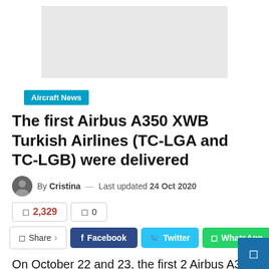[Figure (other): Advertisement banner placeholder, light grey rectangle]
Aircraft News
The first Airbus A350 XWB Turkish Airlines (TC-LGA and TC-LGB) were delivered
By Cristina — Last updated 24 Oct 2020
2,329 views  0 comments
Share  Facebook  Twitter  WhatsApp
On October 22 and 23, the first 2 Airbus A350 XWB Turkish Airlines aircraft were delivered. We are talking about TC-LGA and TC-LGB registered aircraft. They arrived in Istanbul and will soon enter the commercial service.